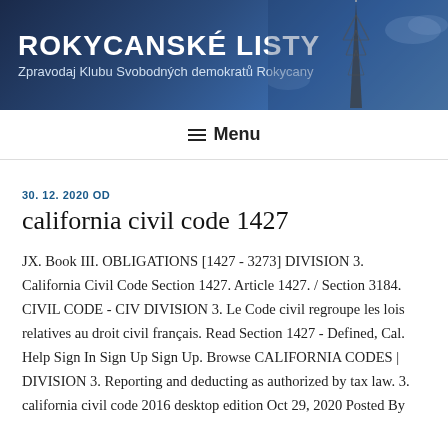ROKYCANSKÉ LISTY
Zpravodaj Klubu Svobodných demokratů Rokycany
≡ Menu
30. 12. 2020 OD
california civil code 1427
JX. Book III. OBLIGATIONS [1427 - 3273] DIVISION 3. California Civil Code Section 1427. Article 1427. / Section 3184. CIVIL CODE - CIV DIVISION 3. Le Code civil regroupe les lois relatives au droit civil français. Read Section 1427 - Defined, Cal. Help Sign In Sign Up Sign Up. Browse CALIFORNIA CODES | DIVISION 3. Reporting and deducting as authorized by tax law. 3. california civil code 2016 desktop edition Oct 29, 2020 Posted By